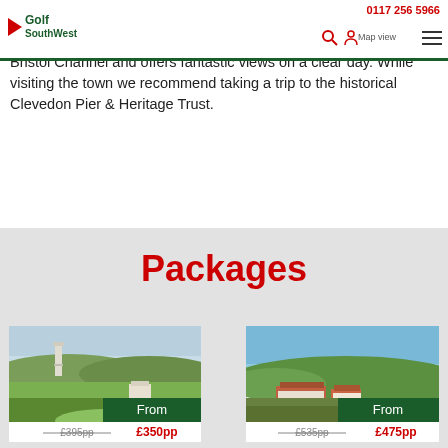Golf SouthWest | 0117 256 5966 | Map view
Clevedon is a beautiful seaside town and civil parish set in eastern Somerset, just a short drive from Bristol. The town overlooks the Bristol Channel and offers fantastic views on a clear day. While visiting the town we recommend taking a trip to the historical Clevedon Pier & Heritage Trust.
Packages
[Figure (photo): Golf course landscape with tower/lighthouse on green hills, showing a package card with From badge, original price £395pp strikethrough and new price £350pp]
[Figure (photo): Golf course landscape with red-roofed buildings against green hills and blue sky, showing a package card with From badge, original price £535pp strikethrough and new price £475pp]